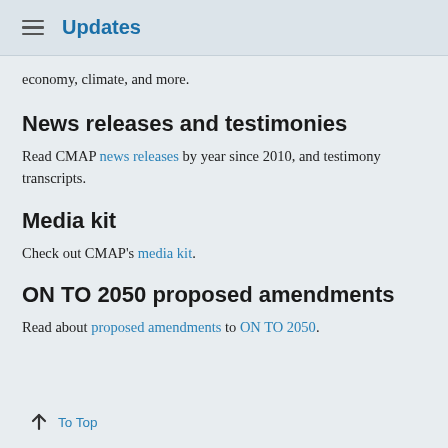Updates
economy, climate, and more.
News releases and testimonies
Read CMAP news releases by year since 2010, and testimony transcripts.
Media kit
Check out CMAP's media kit.
ON TO 2050 proposed amendments
Read about proposed amendments to ON TO 2050.
To Top